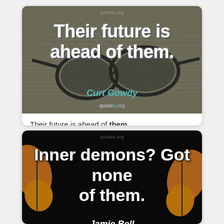[Figure (photo): Quote image card with dark photo background showing glasses on sheet music. Large white text reads 'Their future is ahead of them.' with author 'Curt Gowdy' in teal. Watermark 'quotely.org' at top and bottom.]
Their future is ahead of them.
Curt Gowdy
[Figure (photo): Quote image card with black background showing butterflies. Large white text reads 'Inner demons? Got none of them.' with author 'Jamie Bell' in white italic. Watermark 'quotely.org' at top.]